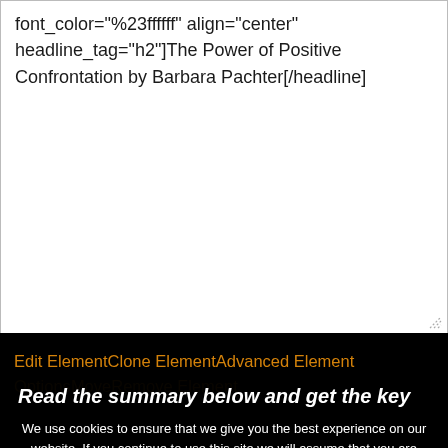font_color="%23ffffff" align="center" headline_tag="h2"]The Power of Positive Confrontation by Barbara Pachter[/headline]
Edit ElementClone ElementAdvanced Element OptionsMoveRemove Element
Read the summary below and get the key insights in just 10 minutes!
We use cookies to ensure that we give you the best experience on our website. If you continue to use this site we will assume that you are happy with it.
[headline style="1" font_size="20" font_font="Raleway" font_color="%23ffffff" align="center" headline_tag="h2"]<em>Read the summary below and get the key insights in just 10